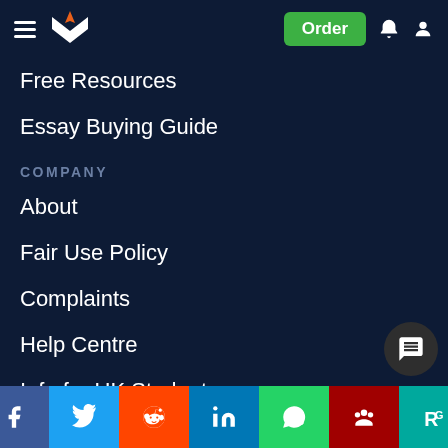Navigation header with logo, Order button, bell and user icons
Free Resources
Essay Buying Guide
COMPANY
About
Fair Use Policy
Complaints
Help Centre
Info for UK Students
Become a Researcher
[Figure (screenshot): Social media share bar with Facebook, Twitter, Reddit, LinkedIn, WhatsApp, Mendeley, ResearchGate icons]